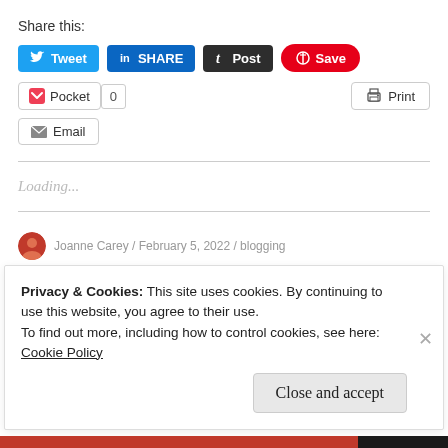Share this:
[Figure (screenshot): Social sharing buttons: Tweet (Twitter/blue), SHARE (LinkedIn/blue), Post (Tumblr/dark), Save (Pinterest/red), Pocket with count 0, Print button, Email button]
Loading...
Joanne Carey / February 5, 2022 / blogging
Privacy & Cookies: This site uses cookies. By continuing to use this website, you agree to their use.
To find out more, including how to control cookies, see here:
Cookie Policy
Close and accept